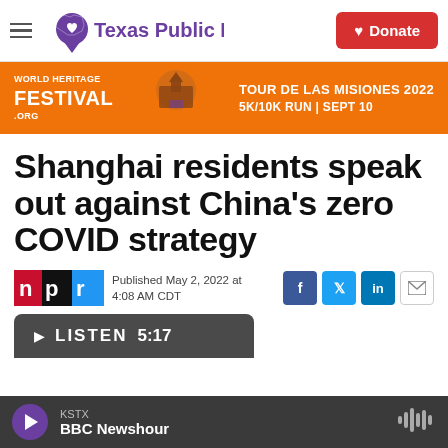Texas Public Radio — Donate
[Figure (illustration): World Heritage Festival ad banner: Tour de Las Misiones 2022, 5K/10K Run, Sept 10]
Shanghai residents speak out against China's zero COVID strategy
Published May 2, 2022 at 4:08 AM CDT
KSTX — BBC Newshour